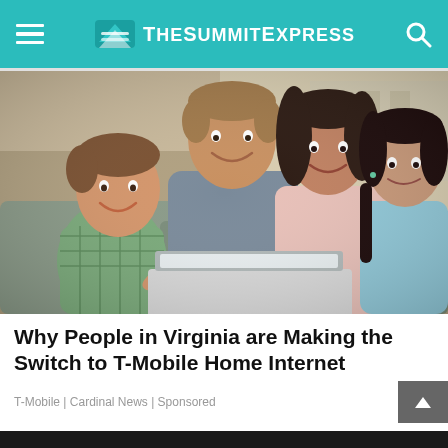TheSummitExpress
[Figure (photo): A smiling family of four – father, mother, young boy and girl – gathered around a laptop computer, looking at the screen together in a home setting.]
Why People in Virginia are Making the Switch to T-Mobile Home Internet
T-Mobile | Cardinal News | Sponsored